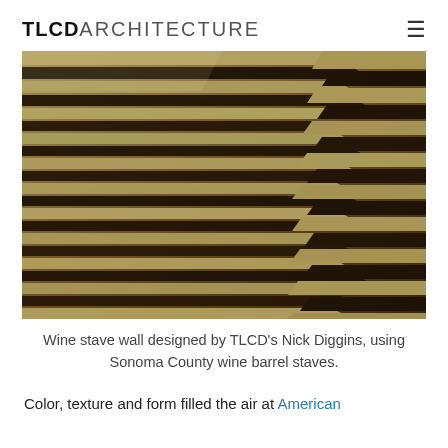TLCD ARCHITECTURE
[Figure (photo): Close-up photograph of a wine stave wall made from alternating light tan and dark brown/purple wooden staves arranged in a layered, overlapping diagonal pattern.]
Wine stave wall designed by TLCD's Nick Diggins, using Sonoma County wine barrel staves.
Color, texture and form filled the air at American